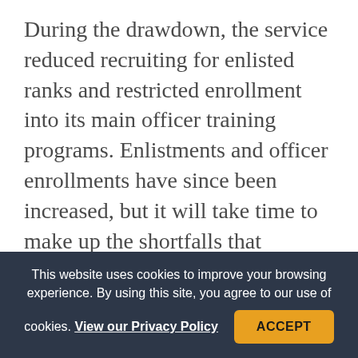During the drawdown, the service reduced recruiting for enlisted ranks and restricted enrollment into its main officer training programs. Enlistments and officer enrollments have since been increased, but it will take time to make up the shortfalls that developed over the 1990s.
The Air Force has trouble attracting potential airmen and officer candidates, particularly in the engineering, scientific, and medical fields. Maintaining a pool of rated officers is even more difficult. So far
This website uses cookies to improve your browsing experience. By using this site, you agree to our use of cookies. View our Privacy Policy